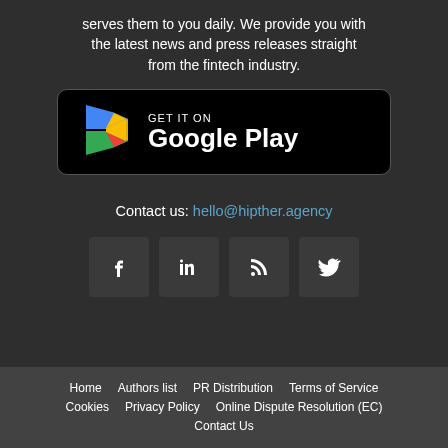serves them to you daily. We provide you with the latest news and press releases straight from the fintech industry.
[Figure (logo): Google Play Store badge with colorful Play icon and text GET IT ON Google Play on black background with rounded border]
Contact us: hello@hipther.agency
[Figure (infographic): Four social media icon buttons (Facebook, LinkedIn, RSS, Twitter) in dark square tiles]
Home  Authors list  PR Distribution  Terms of Service  Cookies  Privacy Policy  Online Dispute Resolution (EC)  Contact Us